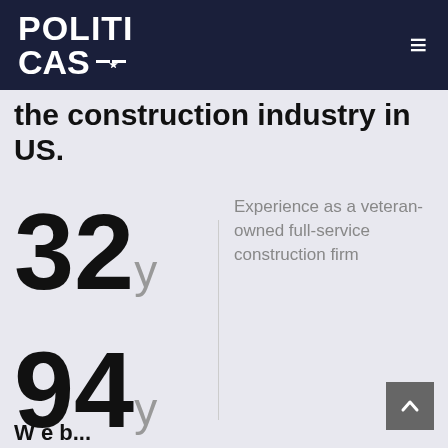POLITICAS
the construction industry in US.
32y
Experience as a veteran-owned full-service construction firm
94y
W e b...